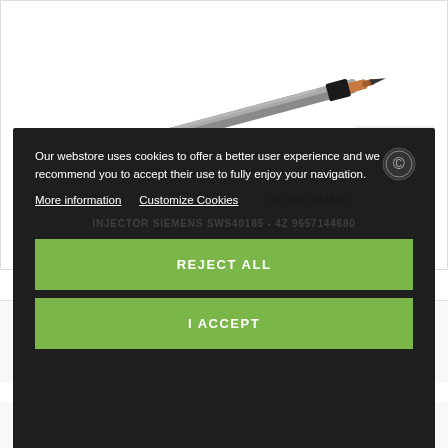[Figure (photo): Fuel injector part - long cylindrical injector with grey/black body and copper tip, shown diagonally]
Our webstore uses cookies to offer a better user experience and we recommend you to accept their use to fully enjoy your navigation.
More information   Customize Cookies
INJECTOR SIEMENS SWS40185 - 4Z 9657144680
REJECT ALL
I ACCEPT
+ Add to Compare
[Figure (photo): Automotive pump or compressor component with yellow connector and black housing]